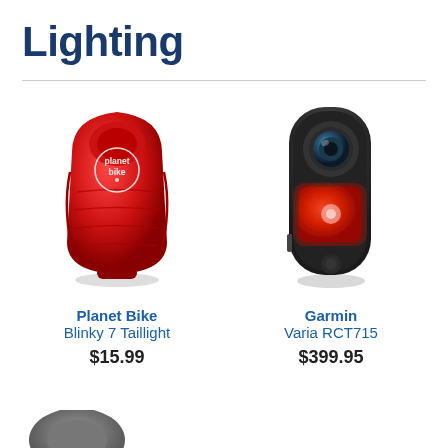Lighting
[Figure (photo): Planet Bike Blinky 7 Taillight - red LED bicycle taillight with Planet Bike logo]
Planet Bike
Blinky 7 Taillight
$15.99
[Figure (photo): Garmin Varia RCT715 - black smart cycling rearview radar camera with red LED light glowing]
Garmin
Varia RCT715
$399.95
[Figure (photo): Partial view of a third product at the bottom of the page, cut off]